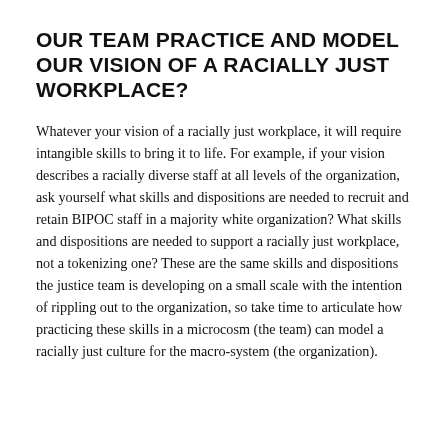OUR TEAM PRACTICE AND MODEL OUR VISION OF A RACIALLY JUST WORKPLACE?
Whatever your vision of a racially just workplace, it will require intangible skills to bring it to life. For example, if your vision describes a racially diverse staff at all levels of the organization, ask yourself what skills and dispositions are needed to recruit and retain BIPOC staff in a majority white organization? What skills and dispositions are needed to support a racially just workplace, not a tokenizing one? These are the same skills and dispositions the justice team is developing on a small scale with the intention of rippling out to the organization, so take time to articulate how practicing these skills in a microcosm (the team) can model a racially just culture for the macro-system (the organization).